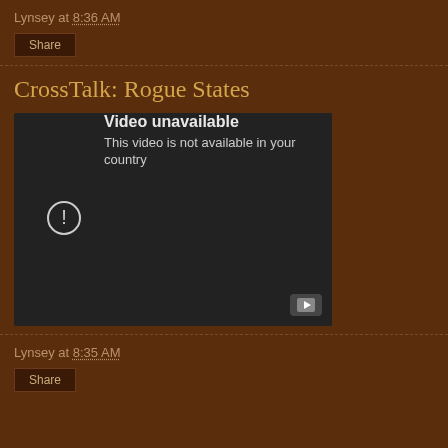Lynsey at 8:36 AM
Share
CrossTalk: Rogue States
[Figure (screenshot): Embedded video player showing 'Video unavailable - This video is not available in your country' error message with a YouTube play button in the bottom right corner.]
Lynsey at 8:35 AM
Share